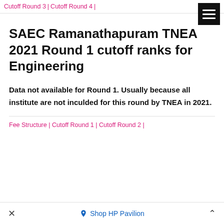Cutoff Round 3 | Cutoff Round 4 |
SAEC Ramanathapuram TNEA 2021 Round 1 cutoff ranks for Engineering
Data not available for Round 1. Usually because all institute are not inculded for this round by TNEA in 2021.
Fee Structure | Cutoff Round 1 | Cutoff Round 2 |
× Shop HP Pavilion ^